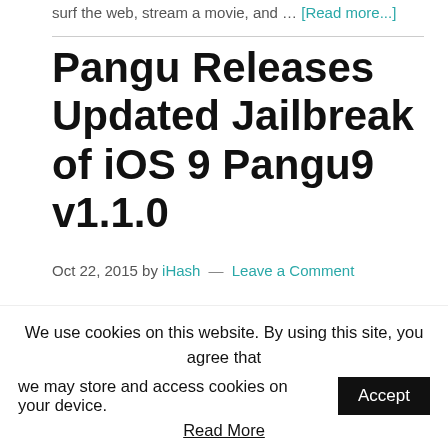surf the web, stream a movie, and … [Read more...]
Pangu Releases Updated Jailbreak of iOS 9 Pangu9 v1.1.0
Oct 22, 2015 by iHash — Leave a Comment
[Figure (logo): iOS 9 logo — rounded square with colorful number 9 and Chinese characters below]
We use cookies on this website. By using this site, you agree that we may store and access cookies on your device.
Read More